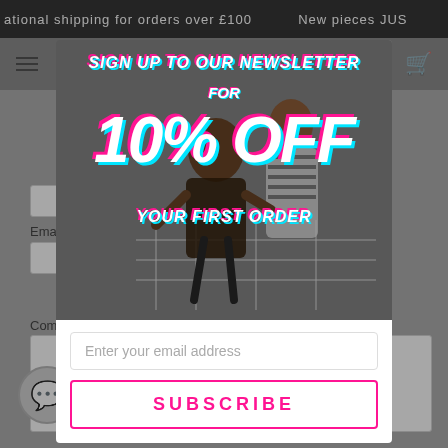ational shipping for orders over £100   New pieces JUS
[Figure (photo): Newsletter signup popup modal overlaid on a dimmed e-commerce website. The modal shows two young women sitting in a shopping cart against a brick wall background, with bold italic text overlay reading 'SIGN UP TO OUR NEWSLETTER FOR 10% OFF YOUR FIRST ORDER'. Below the photo area is a white section with an email input field and a SUBSCRIBE button with pink border.]
SIGN UP TO OUR NEWSLETTER FOR
10% OFF
YOUR FIRST ORDER
Enter your email address
SUBSCRIBE
Email *
Comment
Chat with us